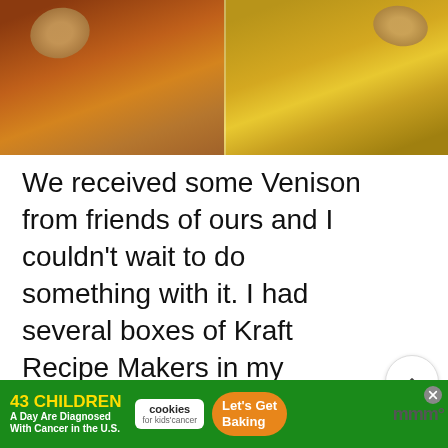[Figure (photo): Two food product boxes side by side showing prepared meals — left box appears to show a dark meat/chili dish, right box shows a cheesy pasta dish, both on a wooden surface]
We received some Venison from friends of ours and I couldn't wait to do something with it. I had several boxes of Kraft Recipe Makers in my pantry, and I quickly decided I thought the Kraft Recipe Makers Chicken Bruschetta Pasta would be perfect with it. The flavors went re...
[Figure (infographic): Social media UI overlay: chevron up button, count of 52, heart/like button, and red search button]
[Figure (infographic): Advertisement banner: '43 CHILDREN A Day Are Diagnosed With Cancer in the U.S.' with cookies for kids cancer logo and Let's Get Baking call to action]